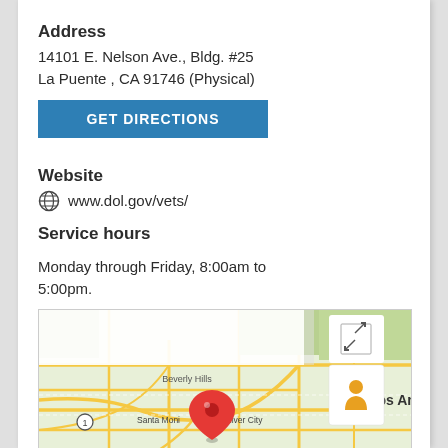Address
14101 E. Nelson Ave., Bldg. #25
La Puente , CA 91746 (Physical)
GET DIRECTIONS
Website
www.dol.gov/vets/
Service hours
Monday through Friday, 8:00am to 5:00pm.
[Figure (map): Google Maps showing location near Santa Monica / La Puente area with a red map pin marker, street view icon, and zoom controls visible.]